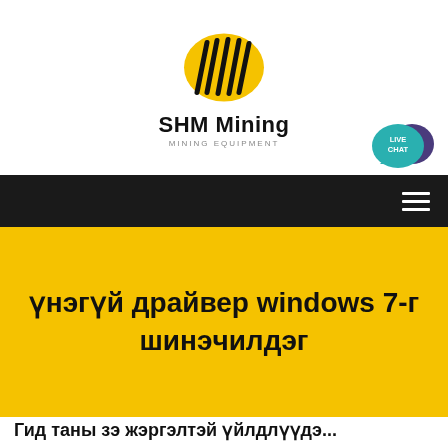[Figure (logo): SHM Mining logo with yellow ellipse and black diagonal lines, with brand name 'SHM Mining' and subtitle 'MINING EQUIPMENT']
[Figure (illustration): Live Chat bubble icon in teal/purple colors with text 'LIVE CHAT']
үнэгүй драйвер windows 7-г шинэчилдэг
Гид таны зэ жэргэлтэй үйлдлүүдэ...